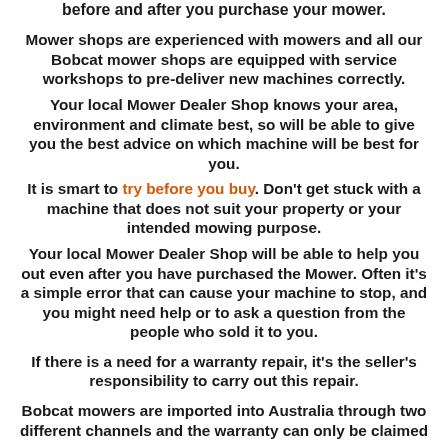before and after you purchase your mower.
Mower shops are experienced with mowers and all our Bobcat mower shops are equipped with service workshops to pre-deliver new machines correctly.
Your local Mower Dealer Shop knows your area, environment and climate best, so will be able to give you the best advice on which machine will be best for you.
It is smart to try before you buy. Don't get stuck with a machine that does not suit your property or your intended mowing purpose.
Your local Mower Dealer Shop will be able to help you out even after you have purchased the Mower. Often it's a simple error that can cause your machine to stop, and you might need help or to ask a question from the people who sold it to you.
If there is a need for a warranty repair, it's the seller's responsibility to carry out this repair.
Bobcat mowers are imported into Australia through two different channels and the warranty can only be claimed